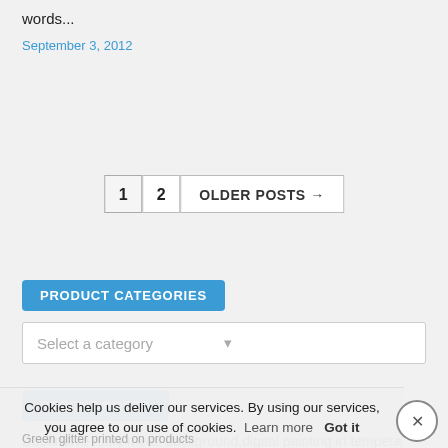words...
September 3, 2012
1   2   OLDER POSTS →
PRODUCT CATEGORIES
Select a category
RECENT POSTS
Decorative rusty metal background,digital painting in tempera style
Watercolor flower prints on products
Cookies help us deliver our services. By using our services, you agree to our use of cookies. Learn more   Got it
Green glitter printed on products